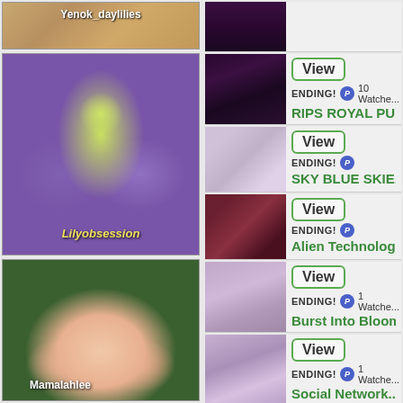[Figure (photo): Top left: daylily photo with text overlay 'Yenok_daylilies']
[Figure (photo): Middle left: purple and green daylily close-up with text 'Lilyobsession']
[Figure (photo): Bottom left: peach ruffled daylily with text 'Mamalahlee']
[Figure (photo): Right top listing thumbnail: dark purple/maroon daylily]
View
ENDING!  10 Watche...
RIPS ROYAL PU...
[Figure (photo): Right second listing thumbnail: light pink/lavender daylily]
View
ENDING!
SKY BLUE SKIE...
[Figure (photo): Right third listing thumbnail: red and yellow daylily]
View
ENDING!
Alien Technolog...
[Figure (photo): Right fourth listing thumbnail: purple/lavender daylily with watermark]
View
ENDING!  1 Watche...
Burst Into Bloom...
[Figure (photo): Right fifth listing thumbnail: purple/violet daylily]
View
ENDING!  1 Watche...
Social Network...